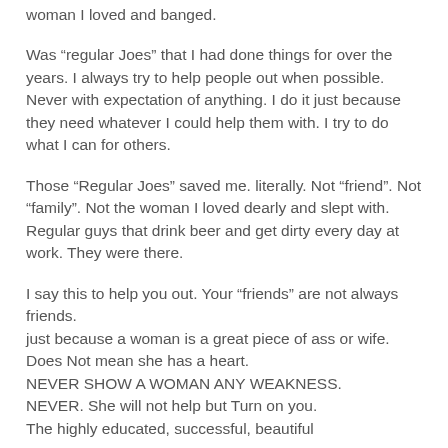woman I loved and banged.
Was “regular Joes” that I had done things for over the years. I always try to help people out when possible. Never with expectation of anything. I do it just because they need whatever I could help them with. I try to do what I can for others.
Those “Regular Joes” saved me. literally. Not “friend”. Not “family”. Not the woman I loved dearly and slept with.
Regular guys that drink beer and get dirty every day at work. They were there.
I say this to help you out. Your “friends” are not always friends.
just because a woman is a great piece of ass or wife. Does Not mean she has a heart.
NEVER SHOW A WOMAN ANY WEAKNESS.
NEVER. She will not help but Turn on you.
The highly educated, successful, beautiful